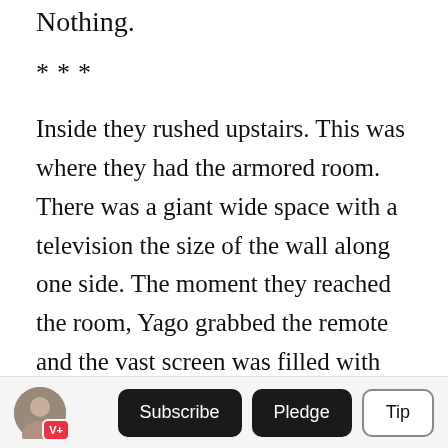Nothing.
***
Inside they rushed upstairs. This was where they had the armored room. There was a giant wide space with a television the size of the wall along one side. The moment they reached the room, Yago grabbed the remote and the vast screen was filled with dozens of tinier squares, showing him nearly every corner of his compound. He watched as the bright searchlights came on, despite the rain, and the men jumped into action.
Subscribe | Pledge | Tip